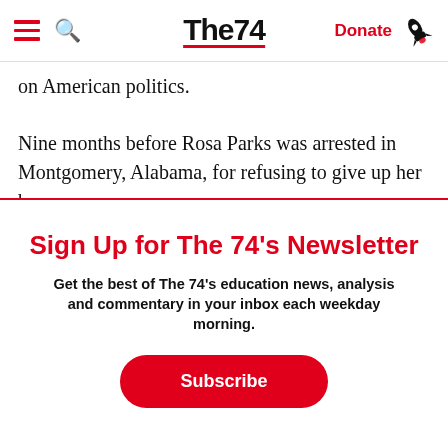The74 — Donate
on American politics.
Nine months before Rosa Parks was arrested in Montgomery, Alabama, for refusing to give up her bus
Sign Up for The 74's Newsletter
Get the best of The 74's education news, analysis and commentary in your inbox each weekday morning.
Subscribe